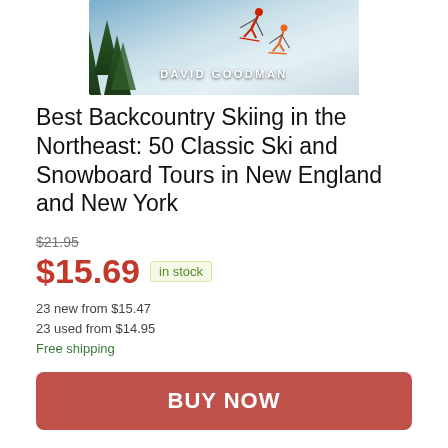[Figure (photo): Book cover photo showing skiers on a snowy backcountry slope with trees, with author name DAVID GOODMAN overlaid in white text]
Best Backcountry Skiing in the Northeast: 50 Classic Ski and Snowboard Tours in New England and New York
$21.95 (strikethrough original price)
$15.69  in stock
23 new from $15.47
23 used from $14.95
Free shipping
BUY NOW